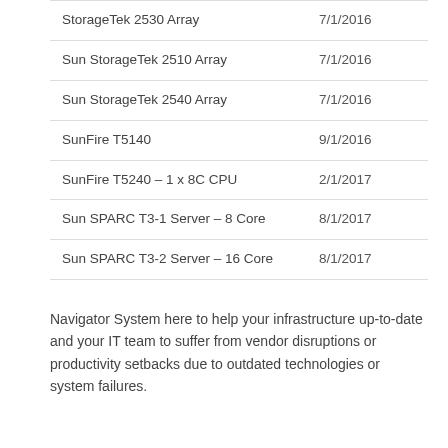| Product | Date |
| --- | --- |
| StorageTek 2530 Array | 7/1/2016 |
| Sun StorageTek 2510 Array | 7/1/2016 |
| Sun StorageTek 2540 Array | 7/1/2016 |
| SunFire T5140 | 9/1/2016 |
| SunFire T5240 – 1 x 8C CPU | 2/1/2017 |
| Sun SPARC T3-1 Server – 8 Core | 8/1/2017 |
| Sun SPARC T3-2 Server – 16 Core | 8/1/2017 |
Navigator System here to help your infrastructure up-to-date and your IT team to suffer from vendor disruptions or productivity setbacks due to outdated technologies or system failures.